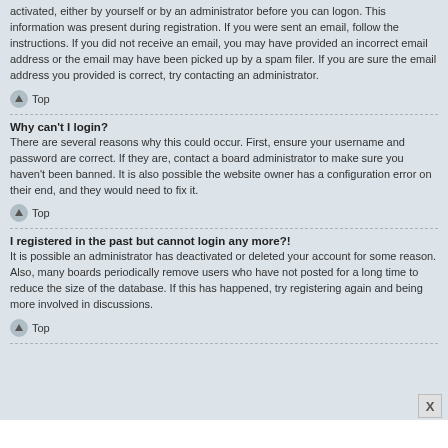activated, either by yourself or by an administrator before you can logon. This information was present during registration. If you were sent an email, follow the instructions. If you did not receive an email, you may have provided an incorrect email address or the email may have been picked up by a spam filer. If you are sure the email address you provided is correct, try contacting an administrator.
↑ Top
Why can't I login?
There are several reasons why this could occur. First, ensure your username and password are correct. If they are, contact a board administrator to make sure you haven't been banned. It is also possible the website owner has a configuration error on their end, and they would need to fix it.
↑ Top
I registered in the past but cannot login any more?!
It is possible an administrator has deactivated or deleted your account for some reason. Also, many boards periodically remove users who have not posted for a long time to reduce the size of the database. If this has happened, try registering again and being more involved in discussions.
↑ Top